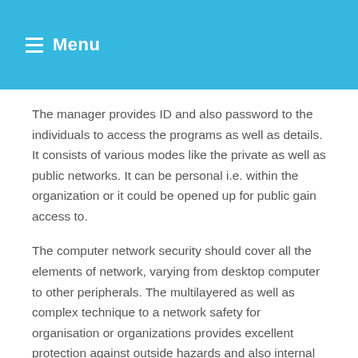≡ Menu
The manager provides ID and also password to the individuals to access the programs as well as details. It consists of various modes like the private as well as public networks. It can be personal i.e. within the organization or it could be opened up for public gain access to.
The computer network security should cover all the elements of network, varying from desktop computer to other peripherals. The multilayered as well as complex technique to a network safety for organisation or organizations provides excellent protection against outside hazards and also internal risks.
For little network or for solitary computer system, a router together with integrated firewall software suffices. On the